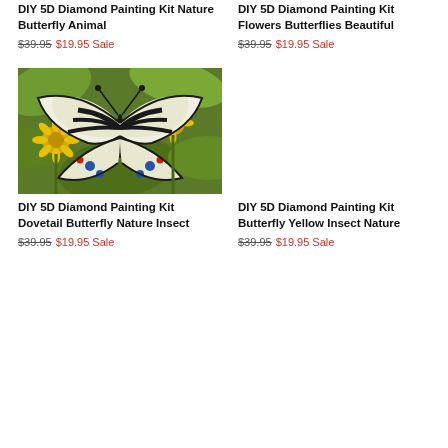DIY 5D Diamond Painting Kit Nature Butterfly Animal
$39.95 $19.95 Sale
DIY 5D Diamond Painting Kit Flowers Butterflies Beautiful
$39.95 $19.95 Sale
[Figure (photo): Swallowtail butterfly with black and white wing patterns perched on yellow flowers with green foliage background]
DIY 5D Diamond Painting Kit Dovetail Butterfly Nature Insect
$39.95 $19.95 Sale
DIY 5D Diamond Painting Kit Butterfly Yellow Insect Nature
$39.95 $19.95 Sale